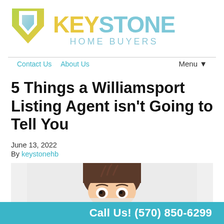[Figure (logo): Keystone Home Buyers logo with geometric arrow/key icon in yellow-green gradient and teal/blue colors, company name in large text]
Contact Us   About Us   Menu▼
5 Things a Williamsport Listing Agent isn't Going to Tell You
June 13, 2022
By keystonehb
[Figure (photo): Person peeking up from bottom of frame with surprised/wide eyes expression, on light gray background]
Call Us! (570) 850-6299